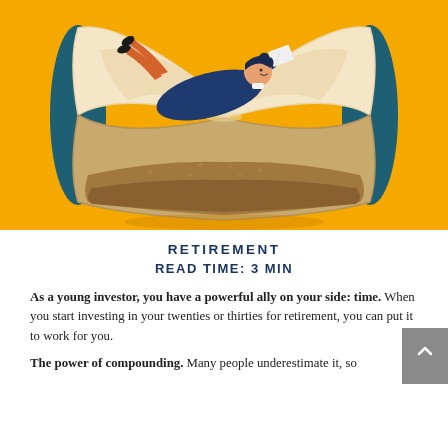[Figure (illustration): Illustration of a person relaxing and reading a book inside a large hourglass, reclining on the sand at the narrowed middle of the hourglass. The hourglass has teal/dark blue rims and the background is bright amber/yellow-orange. Sand fills the lower portion of the hourglass.]
RETIREMENT
READ TIME: 3 MIN
As a young investor, you have a powerful ally on your side: time. When you start investing in your twenties or thirties for retirement, you can put it to work for you.
The power of compounding. Many people underestimate it, so